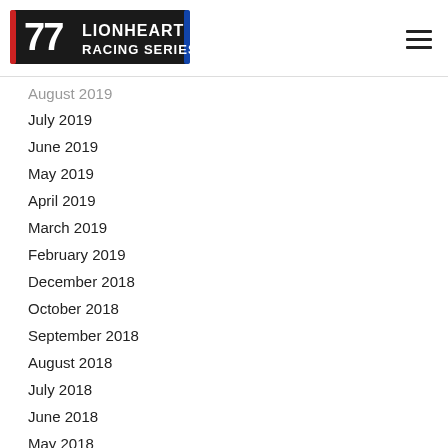[Figure (logo): Lionheart Racing Series logo with number 77 and racing stripe design]
August 2019
July 2019
June 2019
May 2019
April 2019
March 2019
February 2019
December 2018
October 2018
September 2018
August 2018
July 2018
June 2018
May 2018
April 2018
March 2018
February 2018